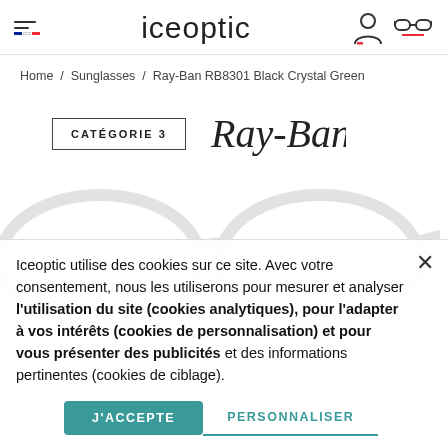iceoptic
Home / Sunglasses / Ray-Ban RB8301 Black Crystal Green
CATÉGORIE 3
[Figure (logo): Ray-Ban cursive script logo]
Iceoptic utilise des cookies sur ce site. Avec votre consentement, nous les utiliserons pour mesurer et analyser l'utilisation du site (cookies analytiques), pour l'adapter à vos intérêts (cookies de personnalisation) et pour vous présenter des publicités et des informations pertinentes (cookies de ciblage).
J'ACCEPTE
PERSONNALISER